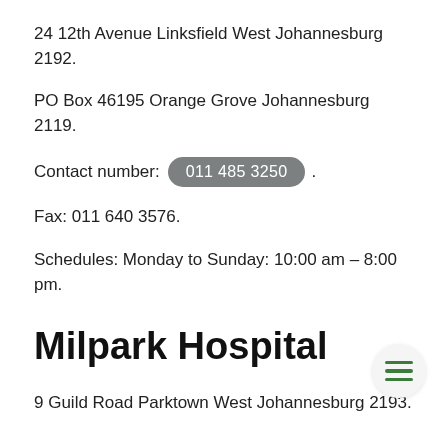24 12th Avenue Linksfield West Johannesburg 2192.
PO Box 46195 Orange Grove Johannesburg 2119.
Contact number: 011 485 3250 .
Fax: 011 640 3576.
Schedules: Monday to Sunday: 10:00 am – 8:00 pm.
Milpark Hospital
9 Guild Road Parktown West Johannesburg 2193.